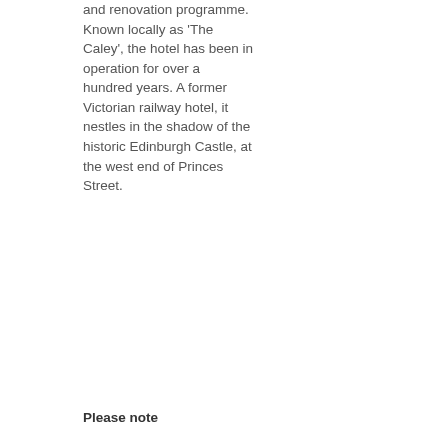and renovation programme. Known locally as 'The Caley', the hotel has been in operation for over a hundred years. A former Victorian railway hotel, it nestles in the shadow of the historic Edinburgh Castle, at the west end of Princes Street.
Please note